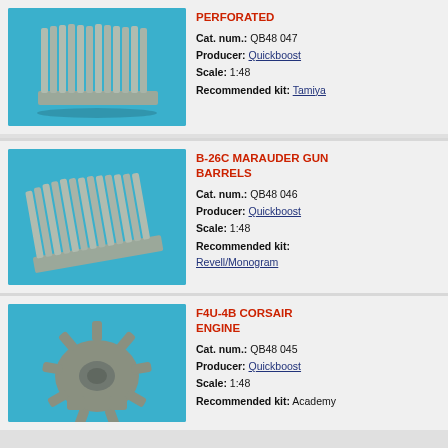[Figure (photo): Photo of model kit gun barrels on blue background]
PERFORATED
Cat. num.: QB48 047
Producer: Quickboost
Scale: 1:48
Recommended kit: Tamiya
[Figure (photo): Photo of B-26C Marauder gun barrels model kit parts on blue background]
B-26C MARAUDER GUN BARRELS
Cat. num.: QB48 046
Producer: Quickboost
Scale: 1:48
Recommended kit: Revell/Monogram
[Figure (photo): Photo of F4U-4B Corsair engine model kit part on blue background]
F4U-4B CORSAIR ENGINE
Cat. num.: QB48 045
Producer: Quickboost
Scale: 1:48
Recommended kit: Academy